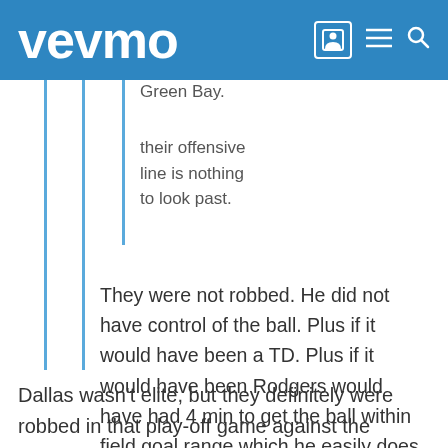vevmo
Green Bay.
their offensive line is nothing to look past.
They were not robbed. He did not have control of the ball. Plus if it would have been a TD. Plus if it would have been Rodgers would have had 4 min to get the ball within field goal range which he easily does.
Dallas wasn't elite, but they definitely were robbed in that play-off game against the Packers. You must have not been watching